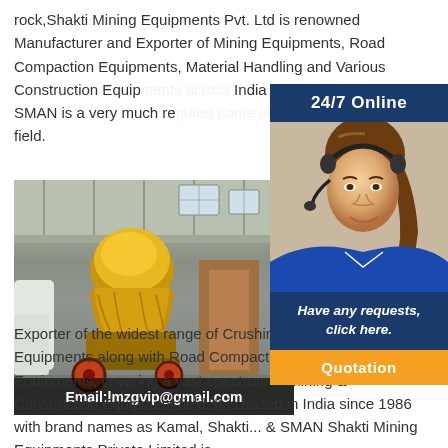rock,Shakti Mining Equipments Pvt. Ltd is renowned Manufacturer and Exporter of Mining Equipments, Road Compaction Equipments, Material Handling and Various Construction Equip... India since 1986. Today SMAN is a very much rep... construction & mining field.
[Figure (photo): Industrial cone crusher machine in a factory setting, yellow/gold colored, with Email:lmzgvip@gmail.com text overlay at bottom]
[Figure (infographic): 24/7 Online chat widget with woman wearing headset, 'Have any requests, click here.' text, and Quotation button]
Sha... Equ... Lim... Sha... Equ... ren... Manufacturer and Exporter of the widest range of Crushing & Screening Equipments along with Road Compaction & Material Handling Equipments, covering a vast spectrum in Mining & Construction Equipment field. It is based in India since 1986 with brand names as Kamal, Shakti... & SMAN Shakti Mining Equipments Private Limited is